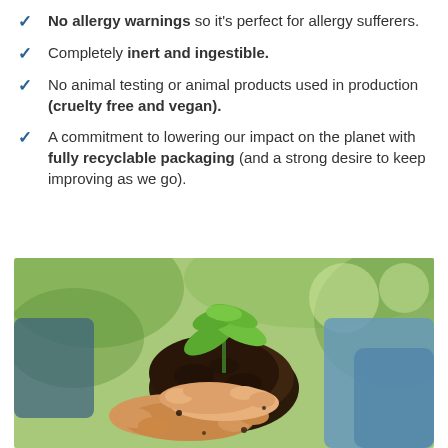No allergy warnings so it's perfect for allergy sufferers.
Completely inert and ingestible.
No animal testing or animal products used in production (cruelty free and vegan).
A commitment to lowering our impact on the planet with fully recyclable packaging (and a strong desire to keep improving as we go).
[Figure (photo): Two pairs of hands holding a small plant seedling with soil — one adult pair supporting underneath, one child pair on top, green blurred background]